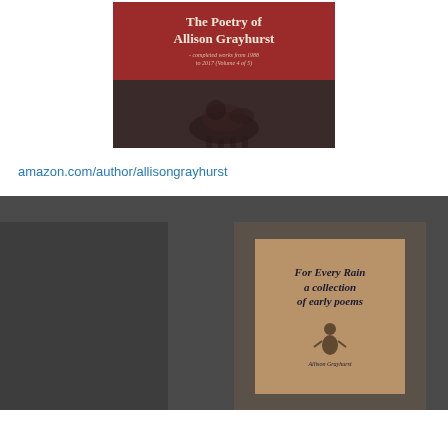[Figure (photo): Book cover image for 'The Poetry of Allison Grayhurst - completed works from 1988 to 2017 (Volume 4 of 5)' with a red upper section showing the title and a dark lower section with an animal figure.]
amazon.com/author/allisongrayhurst
[Figure (photo): Dark background image showing a book cover for 'For Every Rain a collection of early poems' with a figure illustration, displayed on a dark gray background.]